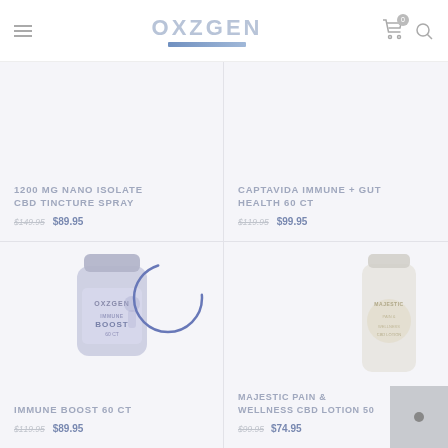[Figure (logo): OXZGEN brand logo in light blue-gray uppercase letters with decorative underline]
1200 MG NANO ISOLATE CBD TINCTURE SPRAY
$149.95 $89.95
CAPTAVIDA IMMUNE + GUT HEALTH 60 CT
$119.95 $99.95
[Figure (photo): OXZGEN Immune Boost CBD supplement bottle, lavender/purple color]
[Figure (other): Loading spinner circle, blue outline, partially complete]
[Figure (photo): Majestic Pain & Wellness CBD Lotion bottle, white/cream color]
IMMUNE BOOST 60 CT
$119.95 $89.95
MAJESTIC PAIN & WELLNESS CBD LOTION 50
$99.95 $74.95